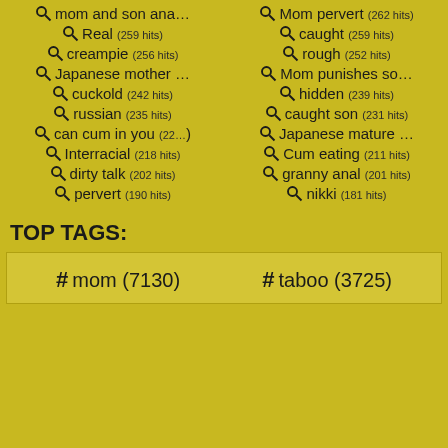mom and son ana… (search)
Mom pervert (262 hits)
Real (259 hits)
caught (259 hits)
creampie (256 hits)
rough (252 hits)
Japanese mother … (search)
Mom punishes so… (search)
cuckold (242 hits)
hidden (239 hits)
russian (235 hits)
caught son (231 hits)
can cum in you (22…)
Japanese mature … (search)
Interracial (218 hits)
Cum eating (211 hits)
dirty talk (202 hits)
granny anal (201 hits)
pervert (190 hits)
nikki (181 hits)
TOP TAGS:
mom (7130)
taboo (3725)